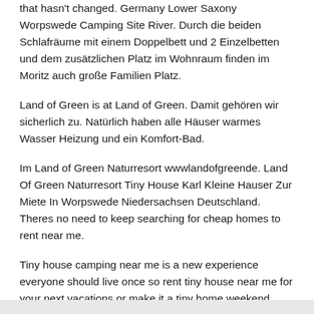that hasn't changed. Germany Lower Saxony Worpswede Camping Site River. Durch die beiden Schlafräume mit einem Doppelbett und 2 Einzelbetten und dem zusätzlichen Platz im Wohnraum finden im Moritz auch große Familien Platz.
Land of Green is at Land of Green. Damit gehören wir sicherlich zu. Natürlich haben alle Häuser warmes Wasser Heizung und ein Komfort-Bad.
Im Land of Green Naturresort wwwlandofgreende. Land Of Green Naturresort Tiny House Karl Kleine Hauser Zur Miete In Worpswede Niedersachsen Deutschland. Theres no need to keep searching for cheap homes to rent near me.
Tiny house camping near me is a new experience everyone should live once so rent tiny house near me for your next vacations or make it a tiny home weekend getaway. Connect with people who share your interest in Camping in Facebook groups. All homes on wheels are welcome here.